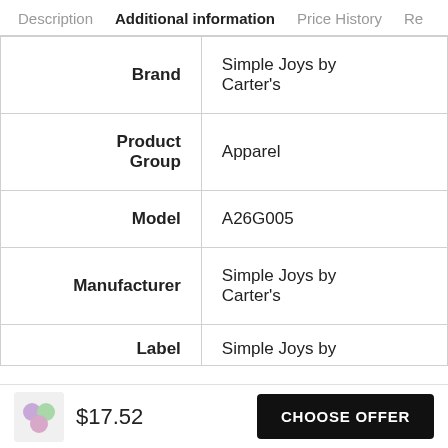Description  Additional information  Price History  Re
| Attribute | Value |
| --- | --- |
| Brand | Simple Joys by Carter's |
| Product Group | Apparel |
| Model | A26G005 |
| Manufacturer | Simple Joys by Carter's |
| Label | Simple Joys by |
$17.52
CHOOSE OFFER